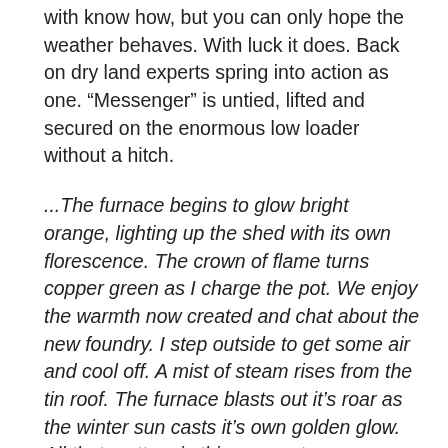with know how, but you can only hope the weather behaves. With luck it does. Back on dry land experts spring into action as one. “Messenger” is untied, lifted and secured on the enormous low loader without a hitch.
...The furnace begins to glow bright orange, lighting up the shed with its own florescence. The crown of flame turns copper green as I charge the pot. We enjoy the warmth now created and chat about the new foundry. I step outside to get some air and cool off. A mist of steam rises from the tin roof. The furnace blasts out it’s roar as the winter sun casts it’s own golden glow. All that matters is this moment...
The show must go on and we’re ready to move. Everything has been checked and checked again. Blue flashing police cars lead the procession out of the